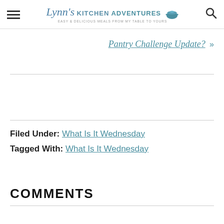Lynn's Kitchen Adventures - Easy & Delicious Meals From My Table To Yours
Pantry Challenge Update? »
Filed Under: What Is It Wednesday
Tagged With: What Is It Wednesday
COMMENTS